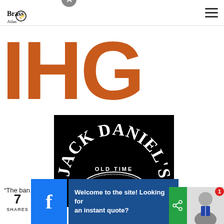Brass Atlas logo and navigation menu
[Figure (logo): IHG logo text in large orange letters on white background]
[Figure (logo): Jack Daniel's Old Time Old No.7 Brand logo on black background]
“The han… ing
Welcome to the site! Looking for an instant quote?
7 SHARES